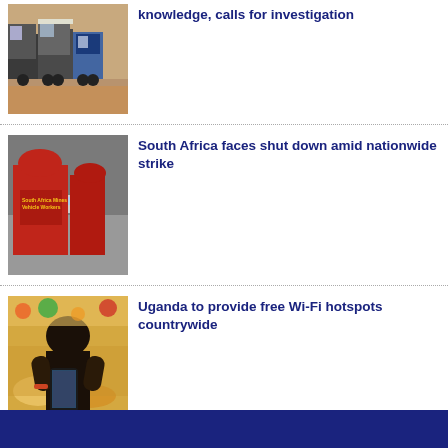[Figure (photo): Row of large trucks/lorries on a dirt road in Africa]
knowledge, calls for investigation
[Figure (photo): People wearing red uniforms with text 'South Africa Mines Vehicle Workers']
South Africa faces shut down amid nationwide strike
[Figure (photo): Person holding a smartphone, viewed from behind]
Uganda to provide free Wi-Fi hotspots countrywide